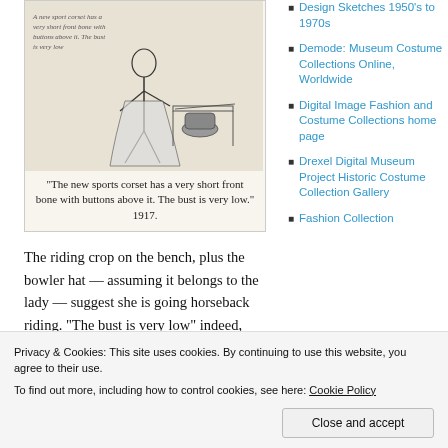[Figure (illustration): Black and white sketch of a woman in a 1917 sports corset, with a riding crop on a bench and a bowler hat nearby. Text caption at top of image reads: 'A new sport corset has a very short front bone with buttons above it. The bust is very low']
“The new sports corset has a very short front bone with buttons above it. The bust is very low.” 1917.
The riding crop on the bench, plus the bowler hat — assuming it belongs to the lady — suggest she is going horseback riding. “The bust is very low” indeed, even though her arms are raised.
Design Sketches 1950’s to 1970s
Demode: Museum Costume Collections Online, Worldwide
Digital Image Fashion and Costume Collections home page
Drexel Digital Museum Project Historic Costume Collection Gallery
Fashion Collection
Privacy & Cookies: This site uses cookies. By continuing to use this website, you agree to their use.
To find out more, including how to control cookies, see here: Cookie Policy